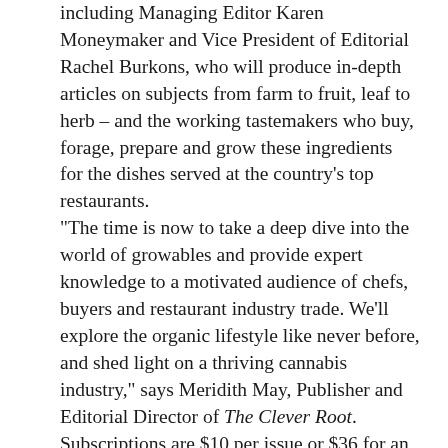including Managing Editor Karen Moneymaker and Vice President of Editorial Rachel Burkons, who will produce in-depth articles on subjects from farm to fruit, leaf to herb – and the working tastemakers who buy, forage, prepare and grow these ingredients for the dishes served at the country's top restaurants. “The time is now to take a deep dive into the world of growables and provide expert knowledge to a motivated audience of chefs, buyers and restaurant industry trade. We’ll explore the organic lifestyle like never before, and shed light on a thriving cannabis industry,” says Meridith May, Publisher and Editorial Director of The Clever Root. Subscriptions are $10 per issue or $36 for an annual subscription and will be targeted to chefs, restaurateurs, directors of food and beverage, grocery food buyers, and wine and spirits stores and high-end consumers. The Clever Root can also be found at gourmet shops, dispensaries, newsstands, wine and food events, cannabis conferences, and culinary and wine schools. “We’re proud to announce that our inaugural issue will feature a cover story on Chef Daniel Patterson, a renowned American chef, restaurateur and food writer. Notable chefs and other industry personalities will grace the cover of each quarterly issue, spotlighting the cultivators of